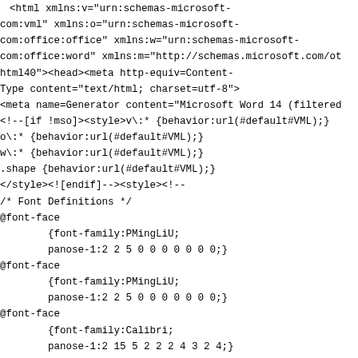<html xmlns:v="urn:schemas-microsoft-com:vml" xmlns:o="urn:schemas-microsoft-com:office:office" xmlns:w="urn:schemas-microsoft-com:office:word" xmlns:m="http://schemas.microsoft.com/ot html40"><head><meta http-equiv=Content-Type content="text/html; charset=utf-8">
<meta name=Generator content="Microsoft Word 14 (filtered
<!--[if !mso]><style>v\:* {behavior:url(#default#VML);}
o\:* {behavior:url(#default#VML);}
w\:* {behavior:url(#default#VML);}
.shape {behavior:url(#default#VML);}
</style><![endif]--><style><!--
/* Font Definitions */
@font-face
        {font-family:PMingLiU;
        panose-1:2 2 5 0 0 0 0 0 0 0;}
@font-face
        {font-family:PMingLiU;
        panose-1:2 2 5 0 0 0 0 0 0 0;}
@font-face
        {font-family:Calibri;
        panose-1:2 15 5 2 2 2 4 3 2 4;}
@font-face
        {font-family:Tahoma;
        panose-1:2 11 6 4 3 5 4 4 2 4;}
@font-face
        {font-family:Georgia;
        panose-1:2 4 5 2 5 4 5 2 3 3;}
@font-face
        {font-family:Verdana;